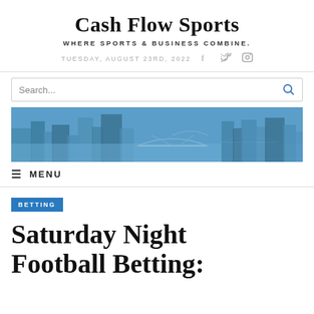Cash Flow Sports
WHERE SPORTS & BUSINESS COMBINE.
TUESDAY, AUGUST 23RD, 2022
[Figure (screenshot): Search bar with placeholder text 'Search...' and blue magnifying glass icon on the right]
[Figure (photo): Blue-tinted aerial cityscape photo showing bridges over a river with city buildings]
MENU
BETTING
Saturday Night Football Betting: